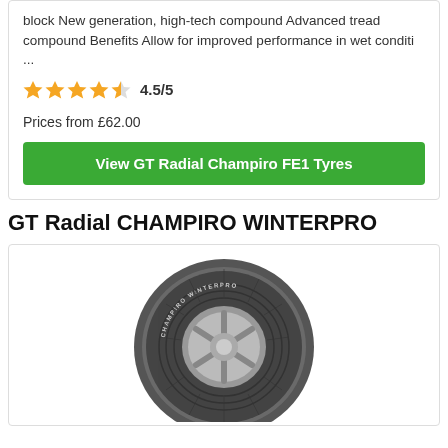block New generation, high-tech compound Advanced tread compound Benefits Allow for improved performance in wet conditi ...
4.5/5
Prices from £62.00
View GT Radial Champiro FE1 Tyres
GT Radial CHAMPIRO WINTERPRO
[Figure (photo): GT Radial Champiro Winterpro tyre image showing tread pattern and sidewall]